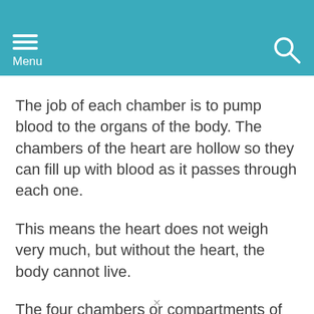Menu
The job of each chamber is to pump blood to the organs of the body. The chambers of the heart are hollow so they can fill up with blood as it passes through each one.
This means the heart does not weigh very much, but without the heart, the body cannot live.
The four chambers or compartments of the heart are